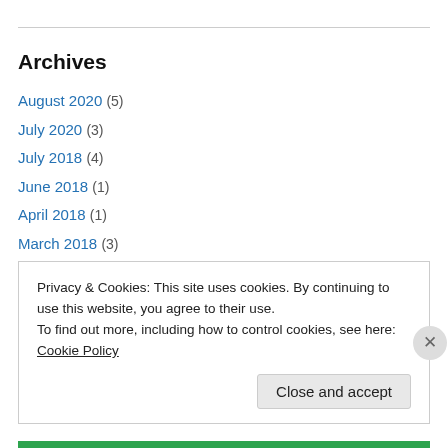Archives
August 2020 (5)
July 2020 (3)
July 2018 (4)
June 2018 (1)
April 2018 (1)
March 2018 (3)
February 2018 (1)
January 2018 (14)
October 2017 (1)
Privacy & Cookies: This site uses cookies. By continuing to use this website, you agree to their use. To find out more, including how to control cookies, see here: Cookie Policy
Close and accept